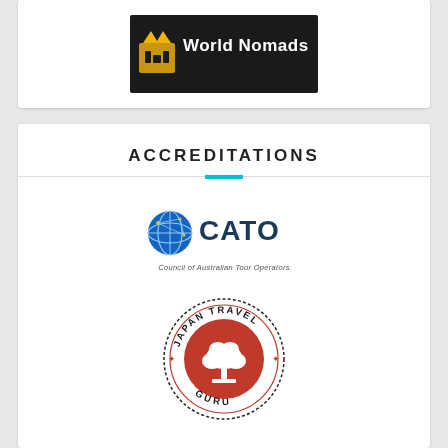[Figure (logo): World Nomads logo — white text 'World Nomads' with a stylized yellow/gold icon on a dark/black background banner]
ACCREDITATIONS
[Figure (logo): CATO logo — blue globe icon next to 'CATO' in dark blue text, with tagline 'Council of Australian Tour Operators' below in small gray italic text]
[Figure (logo): Japan Travel Guru stamp/seal — circular stamp with dashed outer border, 'JAPAN TRAVEL' text on top arc, 'GURU' text on bottom arc, red circle center with white bonsai tree silhouette, red star decorations on sides]